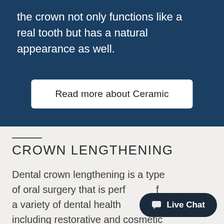the crown not only functions like a real tooth but has a natural appearance as well.
Read more about Ceramic
CROWN LENGTHENING
Dental crown lengthening is a type of oral surgery that is performed for a variety of dental health including restorative and cosmetic